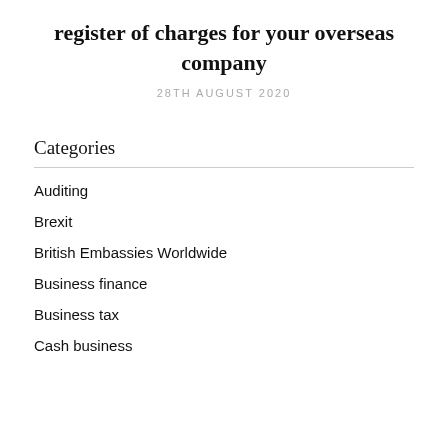register of charges for your overseas company
28TH AUGUST 2020
Categories
Auditing
Brexit
British Embassies Worldwide
Business finance
Business tax
Cash business